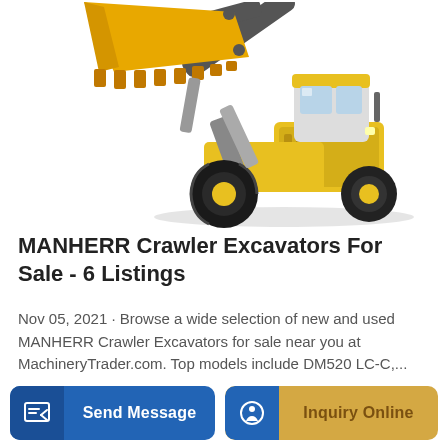[Figure (photo): Yellow MANHERR wheel loader / crawler excavator with large front bucket raised, on white background]
MANHERR Crawler Excavators For Sale - 6 Listings
Nov 05, 2021 · Browse a wide selection of new and used MANHERR Crawler Excavators for sale near you at MachineryTrader.com. Top models include DM520 LC-C,...